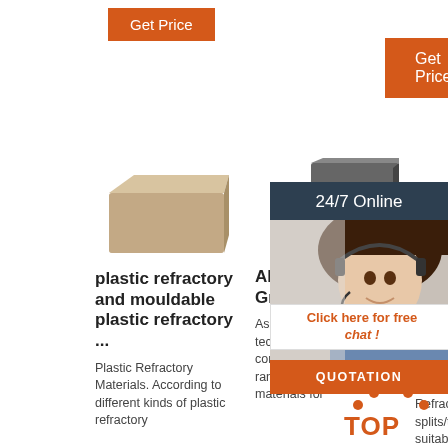[Figure (other): Orange 'Get Price' button, top left area]
[Figure (other): Orange 'Get Price' button, top center area]
[Figure (photo): Photo of a clay/beige refractory brick]
plastic refractory and mouldable plastic refractory ...
Plastic Refractory Materials. According to different kinds of plastic refractory
[Figure (photo): Photo of graphite/dark refractory bricks, two stacked]
About us - RATH Group
As a specialist in refractory technology, RATH offers a comprehensive product range of refractory materials for
[Figure (photo): Photo of white/grey refractory brick splits/tiles]
Fire B... Karen Buildi... Mate... Leah Njuguna ...
Refractory fire brick splits/tiles are suitable for either indoor or
[Figure (other): 24/7 Online chat widget with customer service agent photo, 'Click here for free chat!' text, and QUOTATION button]
[Figure (logo): TOP logo with orange dots forming a house/roof shape and orange TOP text]